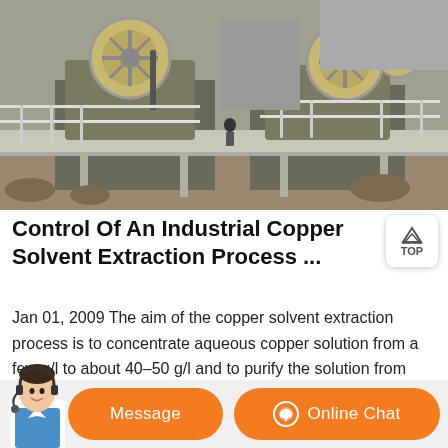[Figure (photo): Aerial/overhead view of industrial copper mining/processing facility showing two large jaw crusher machines with pulley wheels on an elevated metal platform structure with railings, rocky terrain visible below]
Control Of An Industrial Copper Solvent Extraction Process ...
Jan 01, 2009 The aim of the copper solvent extraction process is to concentrate aqueous copper solution from a few g/l to about 40–50 g/l and to purify the solution from ferrous, manganese, chloride and other impurities, which are harmful for the downstream electrowinning